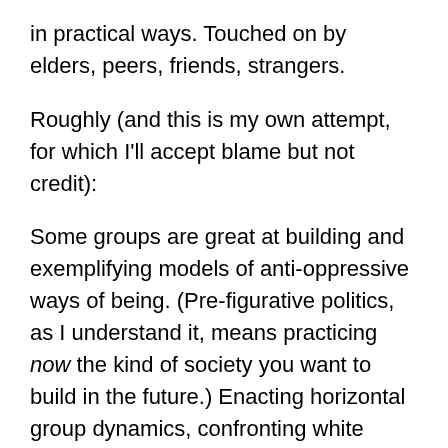in practical ways. Touched on by elders, peers, friends, strangers.
Roughly (and this is my own attempt, for which I'll accept blame but not credit):
Some groups are great at building and exemplifying models of anti-oppressive ways of being. (Pre-figurative politics, as I understand it, means practicing now the kind of society you want to build in the future.) Enacting horizontal group dynamics, confronting white supremacist and racist behavior, challenging and transforming sexism, homophobia, transphobia, fatphobia, ableism, etc. in myriad ways, and continually developing sophisticated, intersectional analyses of these lived oppressions. Honoring and valuing healing; promoting literacy around dealing with trauma and mental wellness. Developing